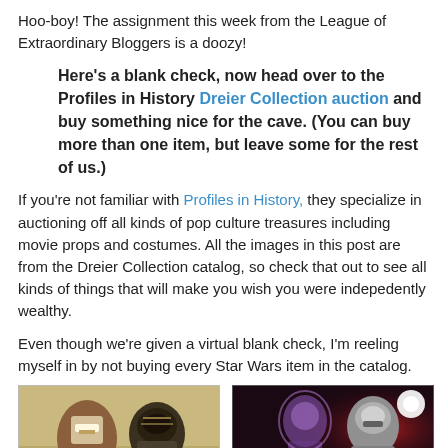Hoo-boy! The assignment this week from the League of Extraordinary Bloggers is a doozy!
Here's a blank check, now head over to the Profiles in History Dreier Collection auction and buy something nice for the cave. (You can buy more than one item, but leave some for the rest of us.)
If you're not familiar with Profiles in History, they specialize in auctioning off all kinds of pop culture treasures including movie props and costumes. All the images in this post are from the Dreier Collection catalog, so check that out to see all kinds of things that will make you wish you were indepedently wealthy.
Even though we're given a virtual blank check, I'm reeling myself in by not buying every Star Wars item in the catalog.
[Figure (photo): Two Star Wars costume pieces/helmets on beige background (left image) and two Star Wars character figures on dark red background (right image)]